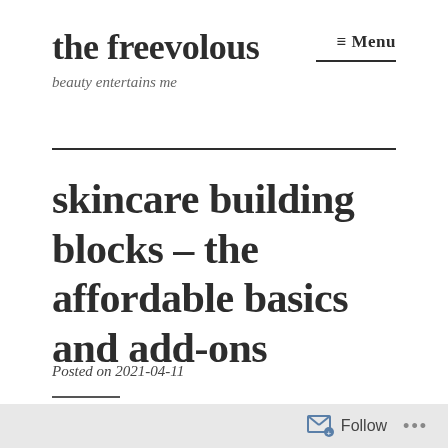the freevolous
beauty entertains me
≡ Menu
skincare building blocks – the affordable basics and add-ons
Posted on 2021-04-11
Follow